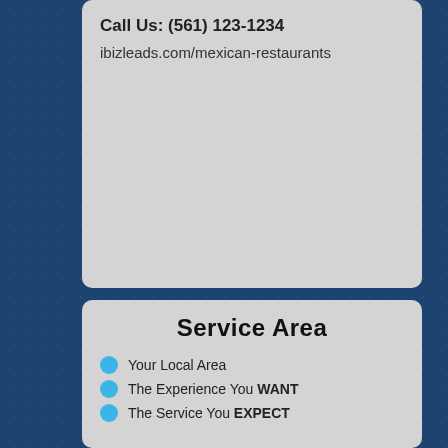Call Us: (561) 123-1234
ibizleads.com/mexican-restaurants
Service Area
Your Local Area
The Experience You WANT
The Service You EXPECT